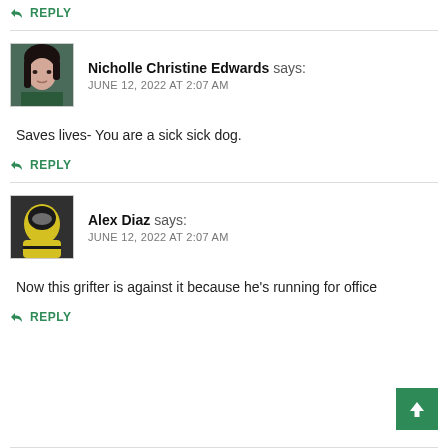↩ REPLY
Nicholle Christine Edwards says:
JUNE 12, 2022 AT 2:07 AM
Saves lives- You are a sick sick dog.
↩ REPLY
Alex Diaz says:
JUNE 12, 2022 AT 2:07 AM
Now this grifter is against it because he's running for office
↩ REPLY